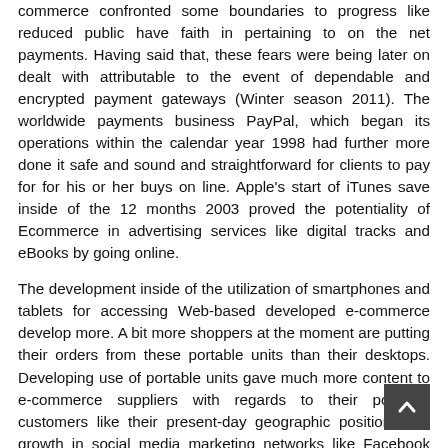commerce confronted some boundaries to progress like reduced public have faith in pertaining to on the net payments. Having said that, these fears were being later on dealt with attributable to the event of dependable and encrypted payment gateways (Winter season 2011). The worldwide payments business PayPal, which began its operations within the calendar year 1998 had further more done it safe and sound and straightforward for clients to pay for for his or her buys on line. Apple's start of iTunes save inside of the 12 months 2003 proved the potentiality of Ecommerce in advertising services like digital tracks and eBooks by going online.
The development inside of the utilization of smartphones and tablets for accessing Web-based developed e-commerce develop more. A bit more shoppers at the moment are putting their orders from these portable units than their desktops. Developing use of portable units gave much more content to e-commerce suppliers with regards to their potential customers like their present-day geographic position. The growth in social media marketing networks like Facebook and Twitter manufactured Ecommerce enterprises to choose social media more severely. Social media also facilitated a far more